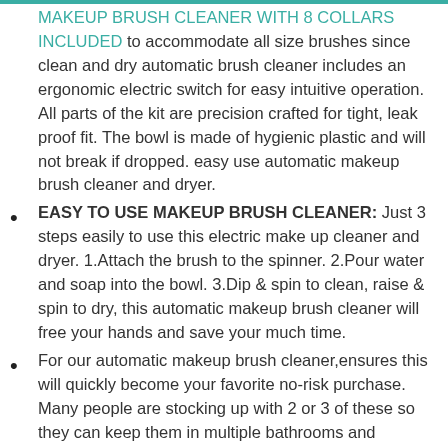MAKEUP BRUSH CLEANER WITH 8 COLLARS INCLUDED to accommodate all size brushes since clean and dry automatic brush cleaner includes an ergonomic electric switch for easy intuitive operation. All parts of the kit are precision crafted for tight, leak proof fit. The bowl is made of hygienic plastic and will not break if dropped. easy use automatic makeup brush cleaner and dryer.
EASY TO USE MAKEUP BRUSH CLEANER: Just 3 steps easily to use this electric make up cleaner and dryer. 1.Attach the brush to the spinner. 2.Pour water and soap into the bowl. 3.Dip & spin to clean, raise & spin to dry, this automatic makeup brush cleaner will free your hands and save your much time.
For our automatic makeup brush cleaner,ensures this will quickly become your favorite no-risk purchase. Many people are stocking up with 2 or 3 of these so they can keep them in multiple bathrooms and bedrooms and share with family members. HURRY AND BUY NOW while we have this value set in plentiful supply. This makes a